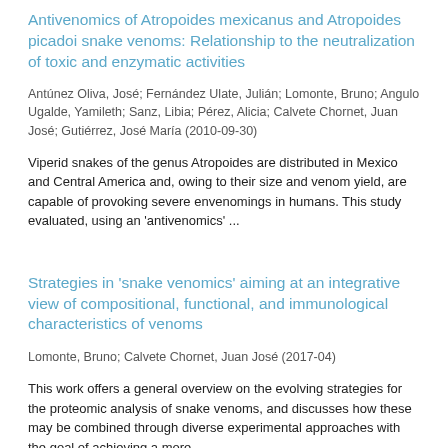Antivenomics of Atropoides mexicanus and Atropoides picadoi snake venoms: Relationship to the neutralization of toxic and enzymatic activities
Antúnez Oliva, José; Fernández Ulate, Julián; Lomonte, Bruno; Angulo Ugalde, Yamileth; Sanz, Libia; Pérez, Alicia; Calvete Chornet, Juan José; Gutiérrez, José María (2010-09-30)
Viperid snakes of the genus Atropoides are distributed in Mexico and Central America and, owing to their size and venom yield, are capable of provoking severe envenomings in humans. This study evaluated, using an 'antivenomics' ...
Strategies in 'snake venomics' aiming at an integrative view of compositional, functional, and immunological characteristics of venoms
Lomonte, Bruno; Calvete Chornet, Juan José (2017-04)
This work offers a general overview on the evolving strategies for the proteomic analysis of snake venoms, and discusses how these may be combined through diverse experimental approaches with the goal of achieving a more ...